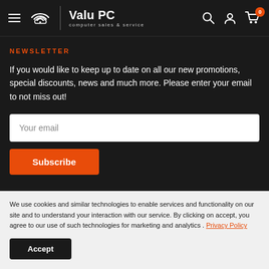Valu PC - computer sales & service
NEWSLETTER
If you would like to keep up to date on all our new promotions, special discounts, news and much more. Please enter your email to not miss out!
Your email
Subscribe
We use cookies and similar technologies to enable services and functionality on our site and to understand your interaction with our service. By clicking on accept, you agree to our use of such technologies for marketing and analytics . Privacy Policy
Accept